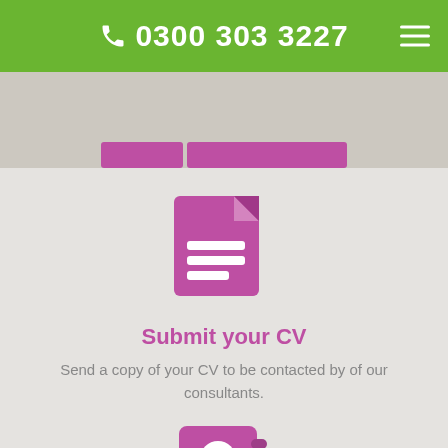0300 303 3227
[Figure (screenshot): Pink/purple buttons partially visible in hero banner area]
[Figure (illustration): Purple document/CV icon with folded corner and text lines]
Submit your CV
Send a copy of your CV to be contacted by of our consultants.
[Figure (illustration): Purple contact book / address book icon with person silhouette]